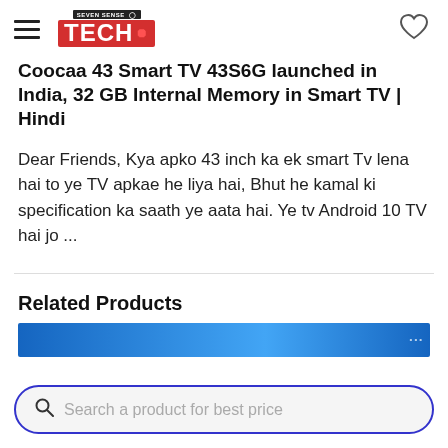Seven Sense TECH
Coocaa 43 Smart TV 43S6G launched in India, 32 GB Internal Memory in Smart TV | Hindi
Dear Friends, Kya apko 43 inch ka ek smart Tv lena hai to ye TV apkae he liya hai, Bhut he kamal ki specification ka saath ye aata hai. Ye tv Android 10 TV hai jo ...
Related Products
[Figure (screenshot): Partial product image strip with blue background]
Search a product for best price